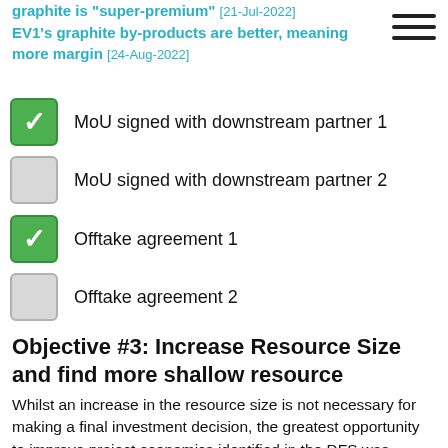graphite is "super-premium" [21-Jul-2022] EV1's graphite by-products are better, meaning more margin [24-Aug-2022]
✓ MoU signed with downstream partner 1
☐ MoU signed with downstream partner 2
✓ Offtake agreement 1
☐ Offtake agreement 2
Objective #3: Increase Resource Size and find more shallow resource
Whilst an increase in the resource size is not necessary for making a final investment decision, the greatest opportunity to improve project economics identified in the DFS was adding more near-surface graphite deposits to substantially reduce mining costs.
We expect EV1 to undertake an expansionary drill program mid-way through next year, with a